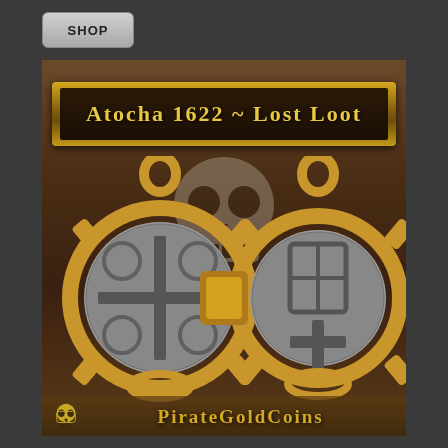[Figure (screenshot): Shop button - gray rounded rectangle button with 'SHOP' text in bold]
[Figure (photo): Advertisement image for Atocha 1622 Lost Loot - showing two antique Spanish silver coin pendants in gold bezels against a pirate-themed background with skull and crossbones. Banner reads 'Atocha 1622 - Lost Loot'. Bottom shows PirateGoldCoins branding with skull icon.]